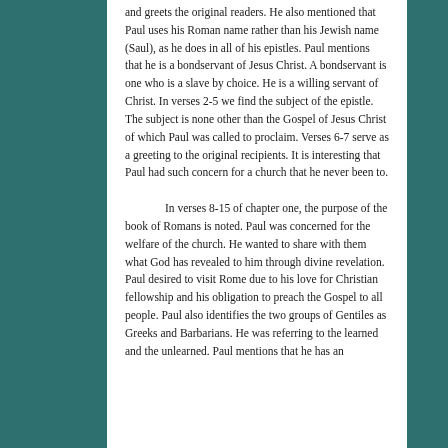and greets the original readers. He also mentioned that Paul uses his Roman name rather than his Jewish name (Saul), as he does in all of his epistles. Paul mentions that he is a bondservant of Jesus Christ. A bondservant is one who is a slave by choice. He is a willing servant of Christ. In verses 2-5 we find the subject of the epistle. The subject is none other than the Gospel of Jesus Christ of which Paul was called to proclaim. Verses 6-7 serve as a greeting to the original recipients. It is interesting that Paul had such concern for a church that he never been to.
In verses 8-15 of chapter one, the purpose of the book of Romans is noted. Paul was concerned for the welfare of the church. He wanted to share with them what God has revealed to him through divine revelation. Paul desired to visit Rome due to his love for Christian fellowship and his obligation to preach the Gospel to all people. Paul also identifies the two groups of Gentiles as Greeks and Barbarians. He was referring to the learned and the unlearned. Paul mentions that he has an